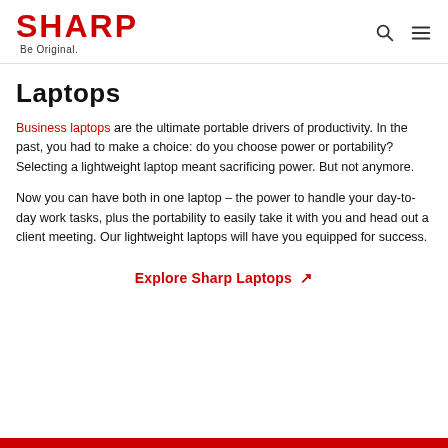SHARP Be Original.
Laptops
Business laptops are the ultimate portable drivers of productivity. In the past, you had to make a choice: do you choose power or portability? Selecting a lightweight laptop meant sacrificing power. But not anymore.
Now you can have both in one laptop – the power to handle your day-to-day work tasks, plus the portability to easily take it with you and head out a client meeting. Our lightweight laptops will have you equipped for success.
Explore Sharp Laptops ↗